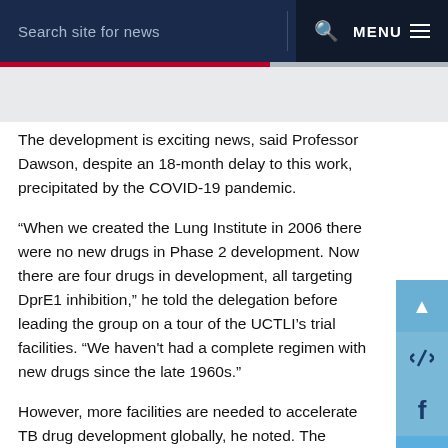Search site for news  MENU
The development is exciting news, said Professor Dawson, despite an 18-month delay to this work, precipitated by the COVID-19 pandemic.
“When we created the Lung Institute in 2006 there were no new drugs in Phase 2 development. Now there are four drugs in development, all targeting DprE1 inhibition,” he told the delegation before leading the group on a tour of the UCTLI’s trial facilities. “We haven't had a complete regimen with new drugs since the late 1960s.”
However, more facilities are needed to accelerate TB drug development globally, he noted. The world’s response to the COVID-19 pandemic has shown what could be achieved in less than a year – with the right backing and will. Figures released by the Treatment